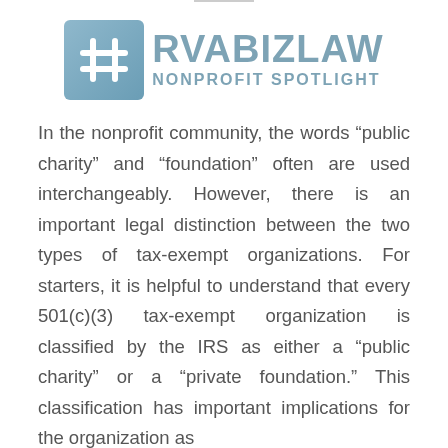[Figure (logo): #RVABIZLAW NONPROFIT SPOTLIGHT logo with hashtag icon in blue-grey square]
In the nonprofit community, the words “public charity” and “foundation” often are used interchangeably. However, there is an important legal distinction between the two types of tax-exempt organizations. For starters, it is helpful to understand that every 501(c)(3) tax-exempt organization is classified by the IRS as either a “public charity” or a “private foundation.” This classification has important implications for the organization as